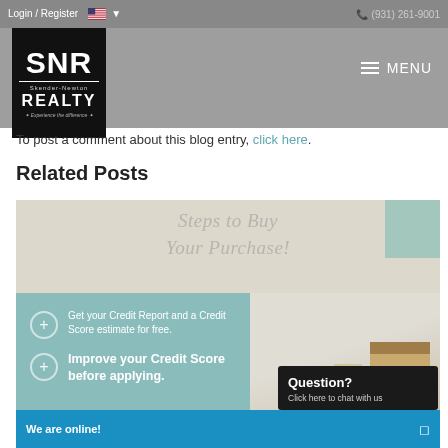Login / Register  🇺🇸  ▾   (931) 261-9001  SNR Skender-Newton REALTY  MENU
To post a comment about this blog entry, click here.
Related Posts
[Figure (photo): A promotional real estate image showing cursive overlay text 'Steps to Buy Your Purchase!', a teal card with credit report tips ('Get your Credit Report and a Credit Score estimate for free.' and 'Improve your Credit Score before applying.'), and a photo of moving boxes. A chat widget overlay reads 'Question? Click here to chat with us' and 'We are online!'.]